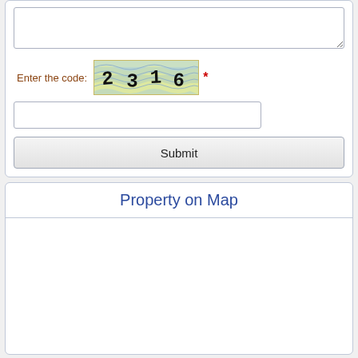[Figure (screenshot): CAPTCHA image showing distorted digits 2 3 1 6 on a wavy blue/white background]
Enter the code: *
Property on Map